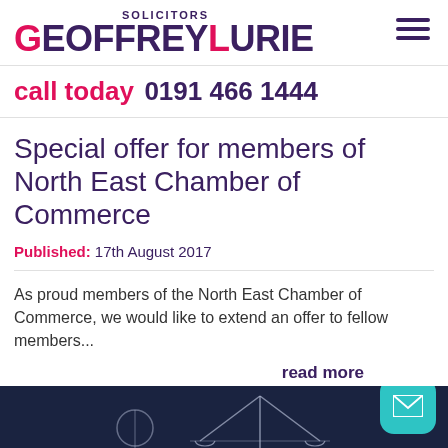SOLICITORS GEOFFREYLURIE
call today 0191 466 1444
Special offer for members of North East Chamber of Commerce
Published: 17th August 2017
As proud members of the North East Chamber of Commerce, we would like to extend an offer to fellow members...
read more
[Figure (illustration): Dark navy background with geometric lines forming scales of justice illustration]